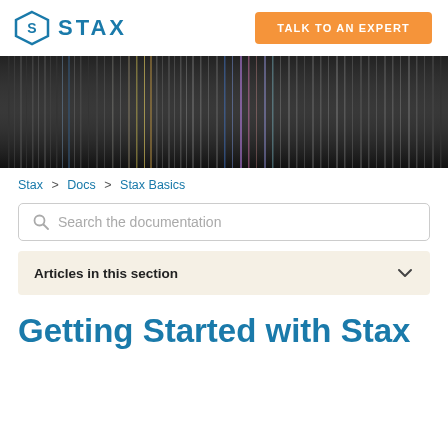STAX | TALK TO AN EXPERT
[Figure (photo): Abstract dark background with vertical iridescent light streaks/stripes in rainbow colors on a dark nearly-black background]
Stax > Docs > Stax Basics
Search the documentation
Articles in this section
Getting Started with Stax